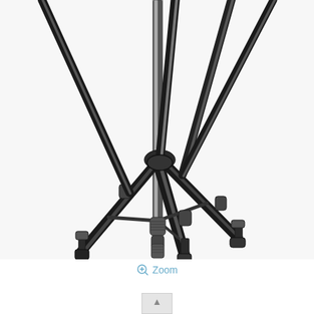[Figure (photo): Close-up photograph of a black camera tripod's lower section showing three extending legs with rubber feet, locking collars, and a center column, against a white background.]
Zoom